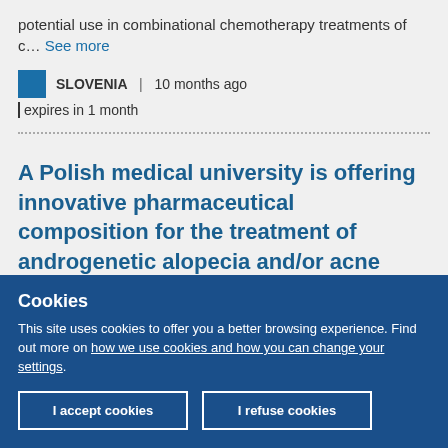potential use in combinational chemotherapy treatments of c… See more
SLOVENIA | 10 months ago | expires in 1 month
A Polish medical university is offering innovative pharmaceutical composition for the treatment of androgenetic alopecia and/or acne vulgaris under license agreement
Cookies
This site uses cookies to offer you a better browsing experience. Find out more on how we use cookies and how you can change your settings.
I accept cookies
I refuse cookies